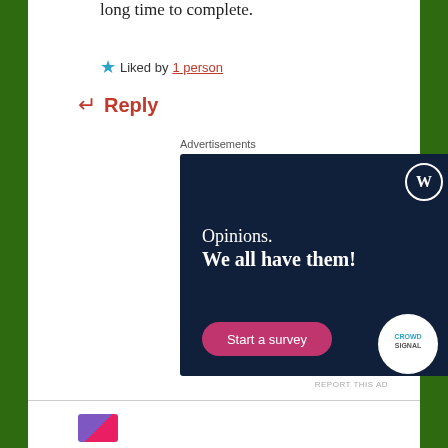long time to complete.
★ Liked by 1 person
↵ Reply
Advertisements
[Figure (illustration): WordPress advertisement with dark navy background. Shows WordPress logo (W in circle) top right. Text reads 'Opinions. We all have them!' with a pink 'Start a survey' button and CrowdSignal logo circle in bottom right.]
REPORT THIS AD